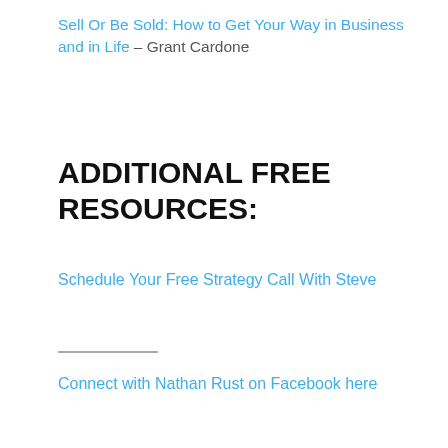Sell Or Be Sold: How to Get Your Way in Business and in Life – Grant Cardone
ADDITIONAL FREE RESOURCES:
Schedule Your Free Strategy Call With Steve
Connect with Nathan Rust on Facebook here